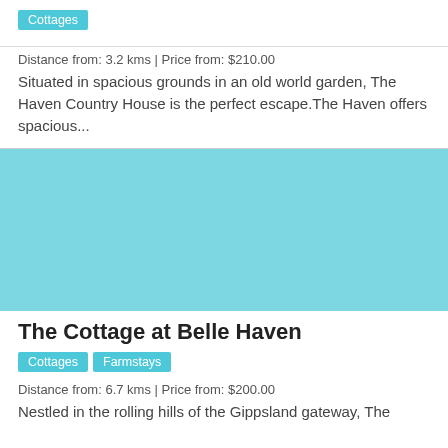Cottages
Distance from: 3.2 kms | Price from: $210.00
Situated in spacious grounds in an old world garden, The Haven Country House is the perfect escape.The Haven offers spacious...
[Figure (photo): Teal/cyan colored image placeholder for The Cottage at Belle Haven listing]
The Cottage at Belle Haven
Cottages
Farmstays
Distance from: 6.7 kms | Price from: $200.00
Nestled in the rolling hills of the Gippsland gateway, The